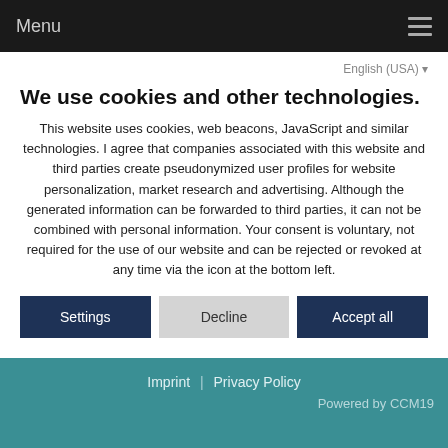Menu
English (USA)
We use cookies and other technologies.
This website uses cookies, web beacons, JavaScript and similar technologies. I agree that companies associated with this website and third parties create pseudonymized user profiles for website personalization, market research and advertising. Although the generated information can be forwarded to third parties, it can not be combined with personal information. Your consent is voluntary, not required for the use of our website and can be rejected or revoked at any time via the icon at the bottom left.
Settings | Decline | Accept all
Imprint | Privacy Policy
Powered by CCM19